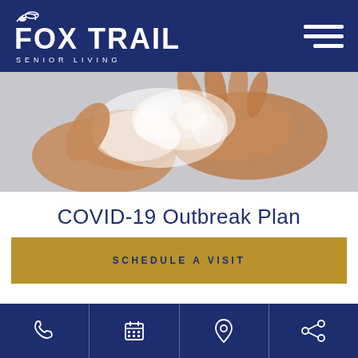[Figure (logo): Fox Trail Senior Living logo with running fox icon, white text on dark blue background, hamburger menu icon top right]
[Figure (photo): Close-up of hands covered in white soap lather being washed, gray background]
COVID-19 Outbreak Plan
SCHEDULE A VISIT
HOW FOX TRAIL IS RESPONDING TO COVID-19
[Figure (infographic): Bottom navigation bar with four icons: phone, calendar/grid, location pin, share]